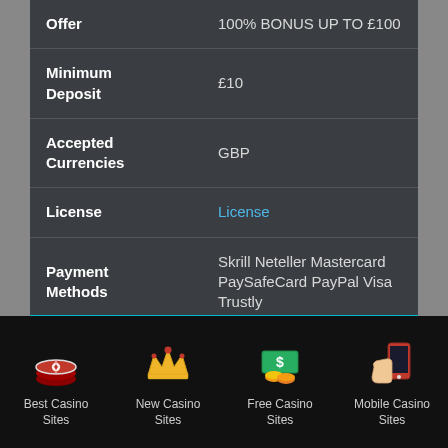| Field | Value |
| --- | --- |
| Offer | 100% BONUS UP TO £100 |
| Minimum Deposit | £10 |
| Accepted Currencies | GBP |
| License | License |
| Payment Methods | Skrill Neteller Mastercard PaySafeCard PayPal Visa Trustly |
| Software | Microgaming |
Best Casino Sites
New Casino Sites
Free Casino Sites
Mobile Casino Sites